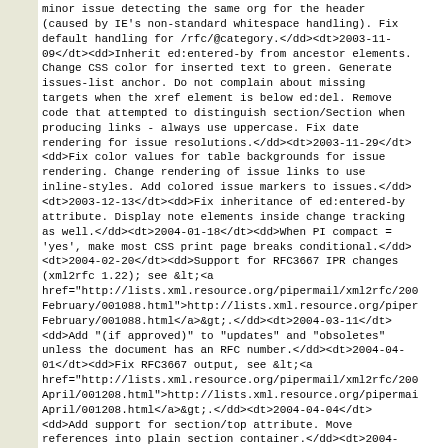minor issue detecting the same org for the header (caused by IE's non-standard whitespace handling). Fix default handling for /rfc/@category.</dd><dt>2003-11-09</dt><dd>Inherit ed:entered-by from ancestor elements. Change CSS color for inserted text to green. Generate issues-list anchor. Do not complain about missing targets when the xref element is below ed:del. Remove code that attempted to distinguish section/Section when producing links - always use uppercase. Fix date rendering for issue resolutions.</dd><dt>2003-11-29</dt><dd>Fix color values for table backgrounds for issue rendering. Change rendering of issue links to use inline-styles. Add colored issue markers to issues.</dd><dt>2003-12-13</dt><dd>Fix inheritance of ed:entered-by attribute. Display note elements inside change tracking as well.</dd><dt>2004-01-18</dt><dd>When PI compact = 'yes', make most CSS print page breaks conditional.</dd><dt>2004-02-20</dt><dd>Support for RFC3667 IPR changes (xml2rfc 1.22); see &lt;<a href="http://lists.xml.resource.org/pipermail/xml2rfc/2004-February/001088.html">http://lists.xml.resource.org/pipermail/xml2rfc/2004-February/001088.html</a>&gt;.</dd><dt>2004-03-11</dt><dd>Add "(if approved)" to "updates" and "obsoletes" unless the document has an RFC number.</dd><dt>2004-04-01</dt><dd>Fix RFC3667 output, see &lt;<a href="http://lists.xml.resource.org/pipermail/xml2rfc/2004-April/001208.html">http://lists.xml.resource.org/pipermail/xml2rfc/2004-April/001208.html</a>&gt;.</dd><dt>2004-04-04</dt><dd>Add support for section/top attribute. Move references into plain section container.</dd><dt>2004-04-06</dt><dd>Do not emit identical para anchors for deleted content.</dd><dt>2004-04-14</dt><dd>Fix references TOC generation when there are no references.</dd><dt>2004-04-24</dt><dd>Fix RFC3667 output, see &lt;<a href="http://xml.resource.org/pipermail/xml2rfc/2004-April/001246.html">http://xml.resource.org/pipermail/xml2rfc/2004-April/001246.html</a>&gt;.</dd><dt>2004-05-09</dt><dd>Add system support for generating compound index...